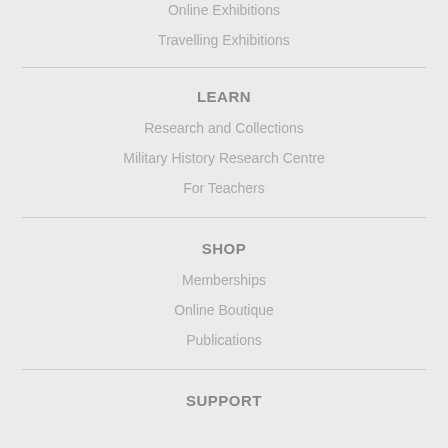Online Exhibitions
Travelling Exhibitions
LEARN
Research and Collections
Military History Research Centre
For Teachers
SHOP
Memberships
Online Boutique
Publications
SUPPORT